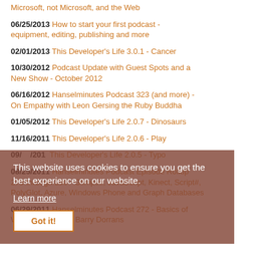Microsoft, not Microsoft, and the Web
06/25/2013 How to start your first podcast - equipment, editing, publishing and more
02/01/2013 This Developer's Life 3.0.1 - Cancer
10/30/2012 Podcast Update with Guest Spots and a New Show - October 2012
06/16/2012 Hanselminutes Podcast 323 (and more) - On Empathy with Leon Gersing the Ruby Buddha
01/05/2012 This Developer's Life 2.0.7 - Dinosaurs
11/16/2011 This Developer's Life 2.0.6 - Play
09/ ... This Developer's Life 2.0.5 - Typo
08/25/2011 Hanselminutes Podcast Episode Rollup 273 through 280 - Glimpse, JavaScript, Kinect, Script#, PolyGlot, Azure, Windows Phone and Graph Databases
06/29/2011 Hanselminutes Podcast 272 - Basics of Web Security with Barry Dorrans
This website uses cookies to ensure you get the best experience on our website. Learn more Got it!